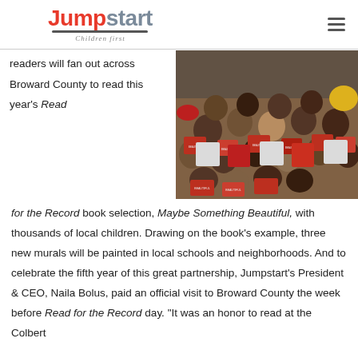Jumpstart Children first
readers will fan out across Broward County to read this year's Read for the Record book selection, Maybe Something Beautiful, with thousands of local children. Drawing on the book's example, three new murals will be painted in local schools and neighborhoods. And to celebrate the fifth year of this great partnership, Jumpstart's President & CEO, Naila Bolus, paid an official visit to Broward County the week before Read for the Record day. “It was an honor to read at the Colbert
[Figure (photo): Group photo of many young children holding up books titled 'Maybe Something Beautiful' in what appears to be a school or library setting.]